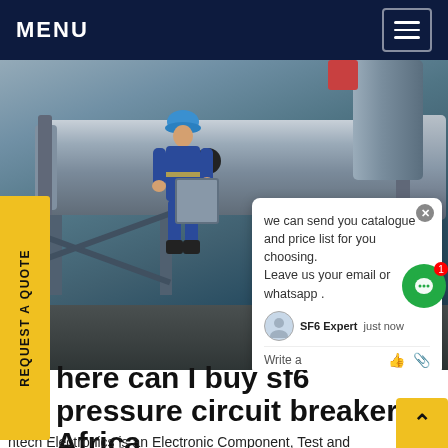MENU
[Figure (photo): Industrial worker in blue coveralls and hard hat working on large cylindrical pipe/equipment at an industrial facility. A chat popup overlay is visible showing: 'we can send you catalogue and price list for you choosing. Leave us your email or whatsapp .' with SF6 Expert label and 'just now' timestamp.]
here can I buy sf6 pressure circuit breaker Africa
ntech Electronics is an Electronic Component, Test and Measurement, Tool and Power Product Importer, Supplier and Distributor. Products are available from any one of our branches and